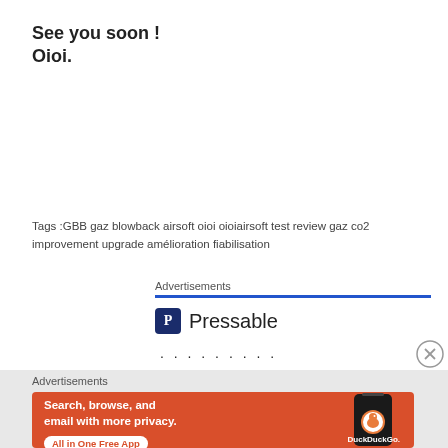See you soon !
Oioi.
Tags :GBB gaz blowback airsoft oioi oioiairsoft test review gaz co2 improvement upgrade amélioration fiabilisation
Advertisements
[Figure (infographic): Pressable logo with P icon and text Pressable, followed by dots row]
Advertisements
[Figure (infographic): DuckDuckGo advertisement banner: orange background with text 'Search, browse, and email with more privacy. All in One Free App' and DuckDuckGo logo on right with phone image]